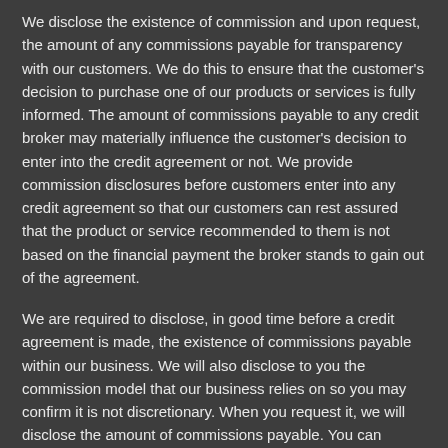We disclose the existence of commission and upon request, the amount of any commissions payable for transparency with our customers. We do this to ensure that the customer's decision to purchase one of our products or services is fully informed. The amount of commissions payable to any credit broker may materially influence the customer's decision to enter into the credit agreement or not. We provide commission disclosures before customers enter into any credit agreement so that our customers can rest assured that the product or service recommended to them is not based on the financial payment the broker stands to gain out of the agreement.
We are required to disclose, in good time before a credit agreement is made, the existence of commissions payable within our business. We will also disclose to you the commission model that our business relies on so you may confirm it is not discretionary. When you request it, we will disclose the amount of commissions payable. You can submit a request for a commission disclosure at any time. Our details are;
Address: Gormley Motors Ltd, 17-23 Ballygawley Road Dungannon, BT70 1TY
Phone: 028 8772 2939